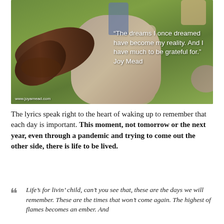[Figure (photo): Outdoor photo showing a large snake sculpture on a sidewalk/path, with children playing around it on green grass. A quote overlay reads: "The dreams I once dreamed have become my reality. And I have much to be grateful for." Joy Mead. Watermark: www.joyamead.com]
The lyrics speak right to the heart of waking up to remember that each day is important. This moment, not tomorrow or the next year, even through a pandemic and trying to come out the other side, there is life to be lived.
Life’s for livin’ child, can’t you see that, these are the days we will remember. These are the times that won’t come again. The highest of flames becomes an ember. And